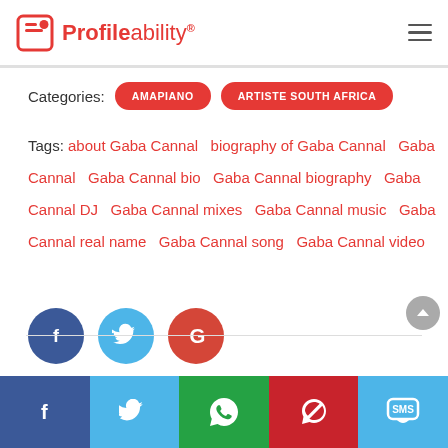Profileability
Categories: AMAPIANO   ARTISTE SOUTH AFRICA
Tags: about Gaba Cannal   biography of Gaba Cannal   Gaba Cannal   Gaba Cannal bio   Gaba Cannal biography   Gaba Cannal DJ   Gaba Cannal mixes   Gaba Cannal music   Gaba Cannal real name   Gaba Cannal song   Gaba Cannal video
[Figure (other): Social sharing circles: Facebook (blue), Twitter (light blue), Google (red)]
[Figure (other): Bottom social share bar with Facebook, Twitter, WhatsApp, Pinterest, SMS buttons]